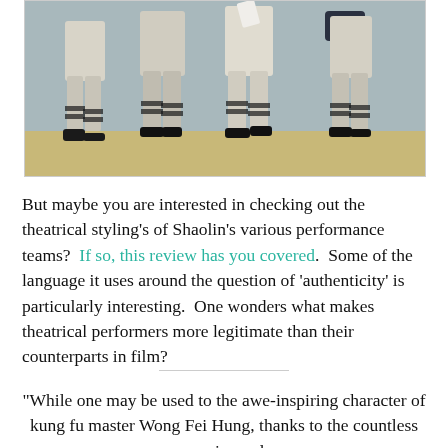[Figure (photo): Martial arts performers in traditional Shaolin robes and leg wrappings performing on stage, viewed from the waist down, with stage lighting equipment visible in the background.]
But maybe you are interested in checking out the theatrical styling's of Shaolin's various performance teams?  If so, this review has you covered.  Some of the language it uses around the question of 'authenticity' is particularly interesting.  One wonders what makes theatrical performers more legitimate than their counterparts in film?
“While one may be used to the awe-inspiring character of kung fu master Wong Fei Hung, thanks to the countless movies and